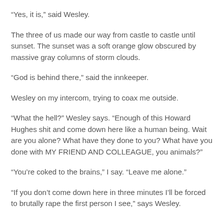“Yes, it is,” said Wesley.
The three of us made our way from castle to castle until sunset. The sunset was a soft orange glow obscured by massive gray columns of storm clouds.
“God is behind there,” said the innkeeper.
Wesley on my intercom, trying to coax me outside.
“What the hell?” Wesley says. “Enough of this Howard Hughes shit and come down here like a human being. Wait are you alone? What have they done to you? What have you done with MY FRIEND AND COLLEAGUE, you animals?”
“You’re coked to the brains,” I say. “Leave me alone.”
“If you don’t come down here in three minutes I’ll be forced to brutally rape the first person I see,” says Wesley.